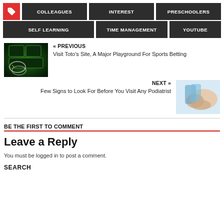COLLEAGUES
INTEREST
PRESCHOOLERS
SELF LEARNING
TIME MANAGEMENT
YOUTUBE
« PREVIOUS
Visit Toto's Site, A Major Playground For Sports Betting
NEXT »
Few Signs to Look For Before You Visit Any Podiatrist
BE THE FIRST TO COMMENT
Leave a Reply
You must be logged in to post a comment.
SEARCH